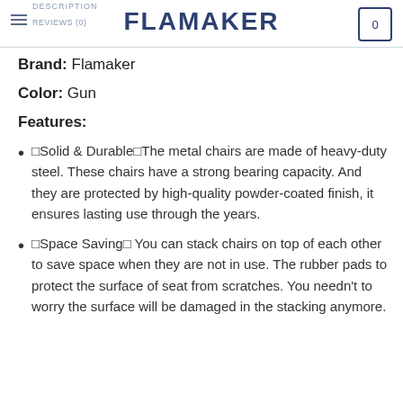FLAMAKER
Brand: Flamaker
Color: Gun
Features:
🔷Solid & Durable🔷The metal chairs are made of heavy-duty steel. These chairs have a strong bearing capacity. And they are protected by high-quality powder-coated finish, it ensures lasting use through the years.
🔷Space Saving🔷 You can stack chairs on top of each other to save space when they are not in use. The rubber pads to protect the surface of seat from scratches. You needn't to worry the surface will be damaged in the stacking anymore.